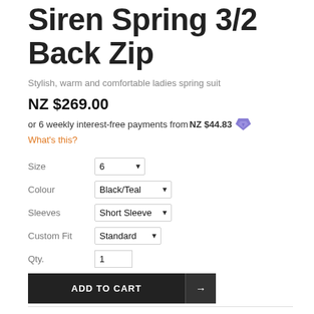Siren Spring 3/2 Back Zip
Stylish, warm and comfortable ladies spring suit
NZ $269.00
or 6 weekly interest-free payments from NZ $44.83
What's this?
| Size | 6 |
| Colour | Black/Teal |
| Sleeves | Short Sleeve |
| Custom Fit | Standard |
| Qty. | 1 |
ADD TO CART